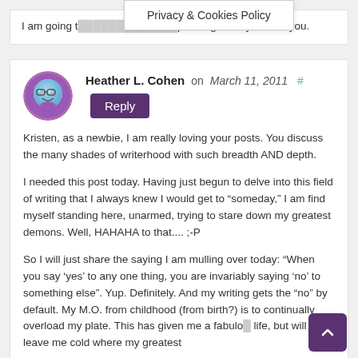[Figure (screenshot): Privacy & Cookies Policy banner/tooltip overlaid on the page]
I am going t...pt and get busy. Thank you.
Heather L. Cohen on March 11, 2011 # Reply
Kristen, as a newbie, I am really loving your posts. You discuss the many shades of writerhood with such breadth AND depth.
I needed this post today. Having just begun to delve into this field of writing that I always knew I would get to “someday,” I am find myself standing here, unarmed, trying to stare down my greatest demons. Well, HAHAHA to that.... ;-P
So I will just share the saying I am mulling over today: “When you say ‘yes’ to any one thing, you are invariably saying ‘no’ to something else”. Yup. Definitely. And my writing gets the “no” by default. My M.O. from childhood (from birth?) is to continually overload my plate. This has given me a fabulo... life, but will leave me cold where my greatest